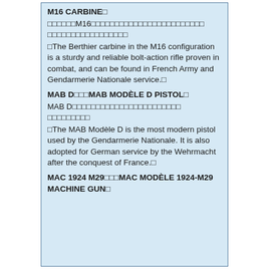M16 CARBINE■ ■■■■■■M16■■■■■■■■■■■■■■■■■■■■■■■■■ ■The Berthier carbine in the M16 configuration is a sturdy and reliable bolt-action rifle proven in combat, and can be found in French Army and Gendarmerie Nationale service.■
MAB D■■■MAB MODÈLE D PISTOL■ MAB D■■■■■■■■■■■■■■■■■■■■■■■ ■The MAB Modèle D is the most modern pistol used by the Gendarmerie Nationale. It is also adopted for German service by the Wehrmacht after the conquest of France.■
MAC 1924 M29■■■MAC MODÈLE 1924-M29 MACHINE GUN■